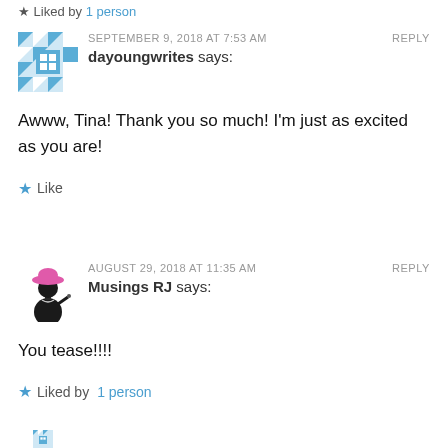Liked by 1 person
SEPTEMBER 9, 2018 AT 7:53 AM   REPLY
dayoungwrites says:
Awww, Tina! Thank you so much! I'm just as excited as you are!
Like
AUGUST 29, 2018 AT 11:35 AM   REPLY
Musings RJ says:
You tease!!!!
Liked by 1 person